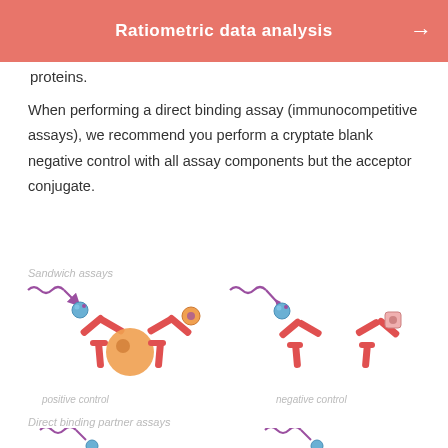Ratiometric data analysis
proteins.
When performing a direct binding assay (immunocompetitive assays), we recommend you perform a cryptate blank negative control with all assay components but the acceptor conjugate.
Sandwich assays
[Figure (illustration): Sandwich assay positive control diagram showing two antibodies (red Y-shapes) with a large orange antigen in the middle, one antibody tagged with a blue bead (cryptate donor) and another with an orange fluorophore (acceptor), with purple wavy arrow indicating energy transfer.]
positive control
[Figure (illustration): Sandwich assay negative control diagram showing two antibodies (red Y-shapes) separated, one tagged with blue bead and a small pink square acceptor floating separately, no energy transfer indicated.]
negative control
Direct binding partner assays
[Figure (illustration): Direct binding partner assay diagram showing antibody with orange antigen and blue bead, with wavy arrow indicating energy transfer — partially visible at bottom of page.]